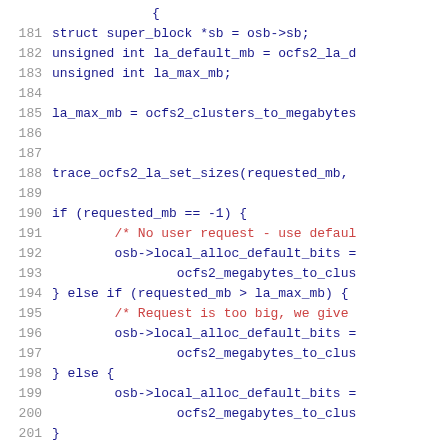Source code snippet, lines 181-201, C code for ocfs2 local allocation
[Figure (screenshot): C source code showing lines 181-201 of a Linux kernel OCFS2 file system function. Lines include struct and variable declarations, a function call to trace_ocfs2_la_set_sizes, and an if/else if/else block setting osb->local_alloc_default_bits using ocfs2_megabytes_to_clusters.]